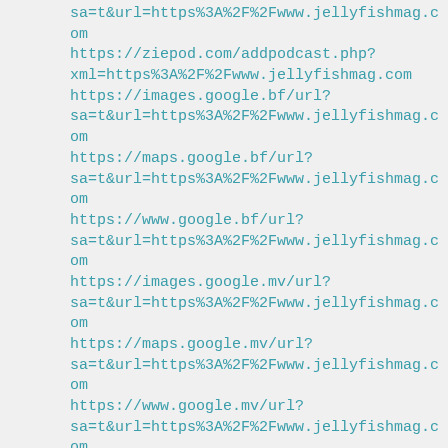sa=t&url=https%3A%2F%2Fwww.jellyfishmag.com
https://ziepod.com/addpodcast.php?xml=https%3A%2F%2Fwww.jellyfishmag.com
https://images.google.bf/url?sa=t&url=https%3A%2F%2Fwww.jellyfishmag.com
https://maps.google.bf/url?sa=t&url=https%3A%2F%2Fwww.jellyfishmag.com
https://www.google.bf/url?sa=t&url=https%3A%2F%2Fwww.jellyfishmag.com
https://images.google.mv/url?sa=t&url=https%3A%2F%2Fwww.jellyfishmag.com
https://maps.google.mv/url?sa=t&url=https%3A%2F%2Fwww.jellyfishmag.com
https://www.google.mv/url?sa=t&url=https%3A%2F%2Fwww.jellyfishmag.com
https://pingmyurl.com/site-stats/asiestamaulipas.com.html
https://ve.57883.net/alexa/ve/index.asp?domain=asiestamaulipas.com
https://ve.57883.net/alexa/ve/index.asp?domain=asiestamaulipas.com
https://images.google.mg/url?sa=t&url=https%3A%2F%2Fwww.jellyfishmag.com
https://maps.google.mg/url?sa=t&url=https%3A%2F%2Fwww.jellyfishmag.com
https://www.google.mg/url?